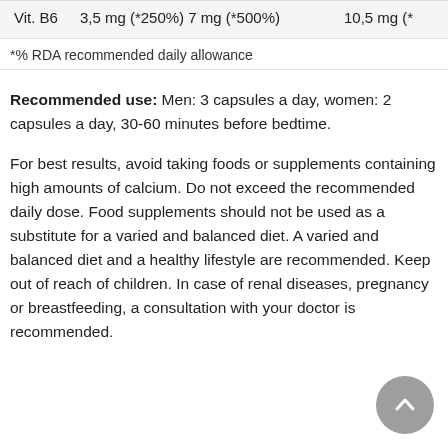| Vit. B6 | 3,5 mg (*250%) | 7 mg (*500%) | 10,5 mg (*... |
*% RDA recommended daily allowance
Recommended use: Men: 3 capsules a day, women: 2 capsules a day, 30-60 minutes before bedtime.
For best results, avoid taking foods or supplements containing high amounts of calcium. Do not exceed the recommended daily dose. Food supplements should not be used as a substitute for a varied and balanced diet. A varied and balanced diet and a healthy lifestyle are recommended. Keep out of reach of children. In case of renal diseases, pregnancy or breastfeeding, a consultation with your doctor is recommended.